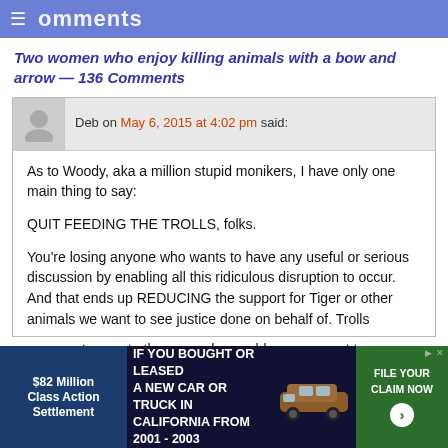Comments
Two women who enjoy killing animals with a bow and arrow — 136 Comments
Deb on May 6, 2015 at 4:02 pm said:
As to Woody, aka a million stupid monikers, I have only one main thing to say:

QUIT FEEDING THE TROLLS, folks.

You're losing anyone who wants to have any useful or serious discussion by enabling all this ridiculous disruption to occur. And that ends up REDUCING the support for Tiger or other animals we want to see justice done on behalf of. Trolls to upset others, so why would anyone want to
[Figure (infographic): Advertisement banner: $82 Million Class Action Settlement - IF YOU BOUGHT OR LEASED A NEW CAR OR TRUCK IN CALIFORNIA FROM 2001 - 2003 - FILE YOUR CLAIM NOW]